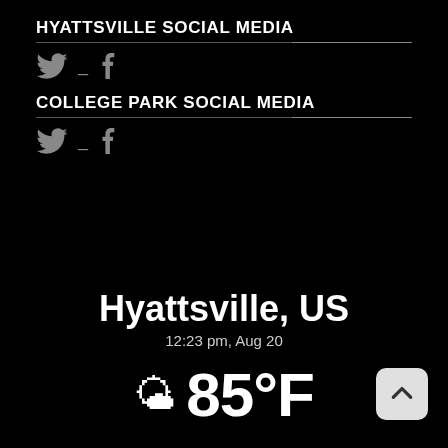HYATTSVILLE SOCIAL MEDIA
[Figure (illustration): Twitter and Facebook social media icons (grey) for Hyattsville]
COLLEGE PARK SOCIAL MEDIA
[Figure (illustration): Twitter and Facebook social media icons (grey) for College Park]
Hyattsville, US
12:23 pm, Aug 20
85°F
[Figure (illustration): Sun emoji icon next to 85°F temperature display; scroll-up arrow button at bottom right]